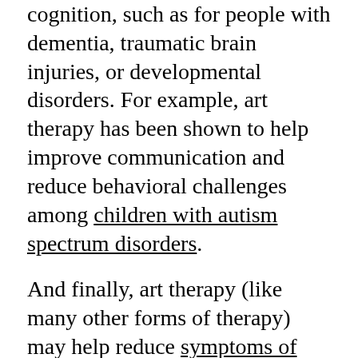cognition, such as for people with dementia, traumatic brain injuries, or developmental disorders. For example, art therapy has been shown to help improve communication and reduce behavioral challenges among children with autism spectrum disorders.
And finally, art therapy (like many other forms of therapy) may help reduce symptoms of anxiety and depression. Art therapy can help dig in to certain values, emotions, or memories that may be fueling anxiety and help find new ways to manage thoughts. Learn more about treating anxiety disorders here.
To find your nearest art therapist, you can check the American Art Therapy Association's